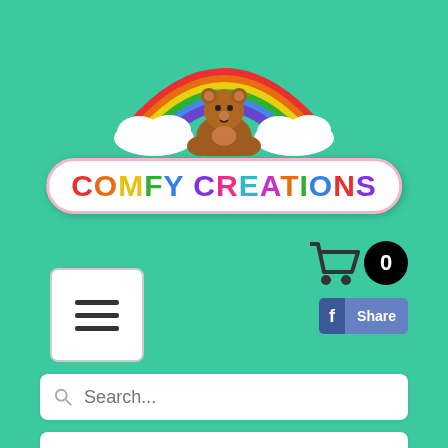[Figure (logo): Comfy Creations logo: rainbow with teddy bear on clouds, colorful brand name pill badge]
[Figure (infographic): Shopping cart icon with black badge showing 0]
[Figure (infographic): Hamburger menu button (three horizontal lines)]
[Figure (infographic): Facebook Share button]
Search...
WRITE A REVIEW
We value our customers here at comfy creations, so we give you the opportunity to leave feedback about your experience.  To make sure we improve our service, we want to hear from you, Your Opinion Matters to Us!
There are two things to consider when you leave us a review:
1.  RATE YOUR CUSTOMER SERVICE EXREIREANCE or/and